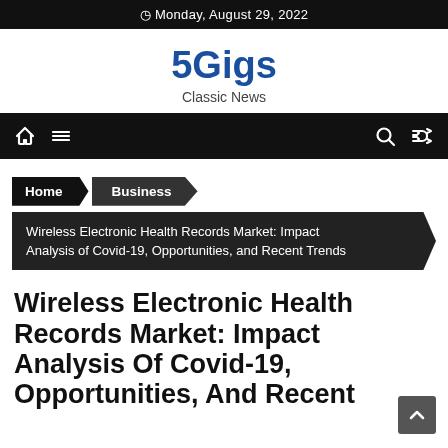Monday, August 29, 2022
5Gigs
Classic News
[Figure (other): Navigation bar with home icon, menu icon, search icon, and shuffle icon on black background]
Home > Business > Wireless Electronic Health Records Market: Impact Analysis of Covid-19, Opportunities, and Recent Trends
Wireless Electronic Health Records Market: Impact Analysis Of Covid-19, Opportunities, And Recent